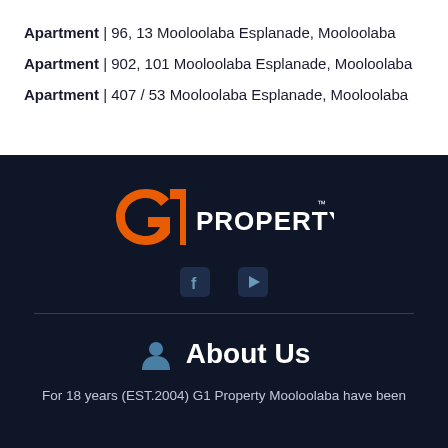Apartment | 96, 13 Mooloolaba Esplanade, Mooloolaba
Apartment | 902, 101 Mooloolaba Esplanade, Mooloolaba
Apartment | 407 / 53 Mooloolaba Esplanade, Mooloolaba
[Figure (logo): G1 Property logo with orange G1 graphic and white PROPERTY text with TM mark]
[Figure (other): Social media icons: Facebook and YouTube]
About Us
For 18 years (EST.2004) G1 Property Mooloolaba have been